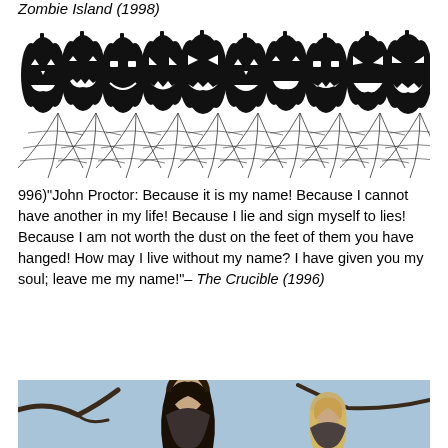Zombie Island (1998)
[Figure (illustration): Decorative Halloween banner with black jack-o-lanterns and spider webs along the bottom]
996)"John Proctor: Because it is my name! Because I cannot have another in my life! Because I lie and sign myself to lies! Because I am not worth the dust on the feet of them you have hanged! How may I live without my name? I have given you my soul; leave me my name!"– The Crucible (1996)
[Figure (photo): Two people outdoors with bare tree branches in background, blue sky, one has long dark hair]